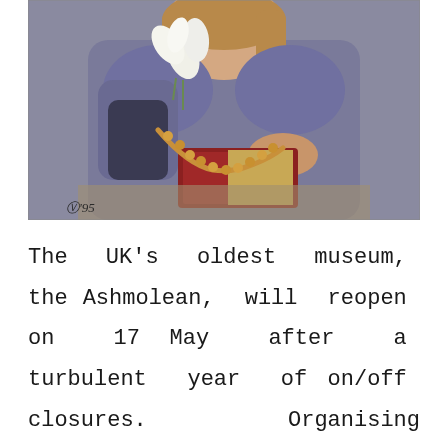[Figure (illustration): A Pre-Raphaelite style painting of a young woman in a blue-grey dress holding white lilies, with amber bead necklace draped over an open book resting on a table. An artist monogram appears in the lower left.]
The UK's oldest museum, the Ashmolean, will reopen on 17 May after a turbulent year of on/off closures.  Organising large feature exhibitions usually